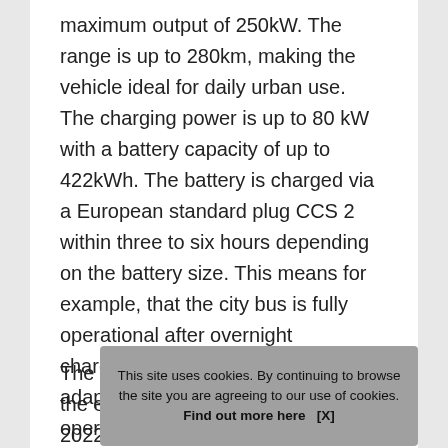maximum output of 250kW. The range is up to 280km, making the vehicle ideal for daily urban use. The charging power is up to 80 kW with a battery capacity of up to 422kWh. The battery is charged via a European standard plug CCS 2 within three to six hours depending on the battery size. This means for example, that the city bus is fully operational after overnight charging. The battery system is adapted to the respective operational requirements and is compatible with various charging solutions.
The BE[...] the end [...] 2022.
This site uses cookies. By continuing to browse the site you are agreeing to our use of cookies. Find out more here   [X]